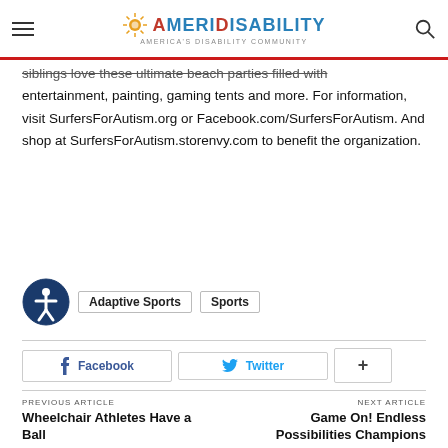AmeriDisability — America's Disability Community
siblings love these ultimate beach parties filled with entertainment, painting, gaming tents and more. For information, visit SurfersForAutism.org or Facebook.com/SurfersForAutism. And shop at SurfersForAutism.storenvy.com to benefit the organization.
Adaptive Sports  Sports
Facebook  Twitter  +
PREVIOUS ARTICLE
Wheelchair Athletes Have a Ball
NEXT ARTICLE
Game On! Endless Possibilities Champions